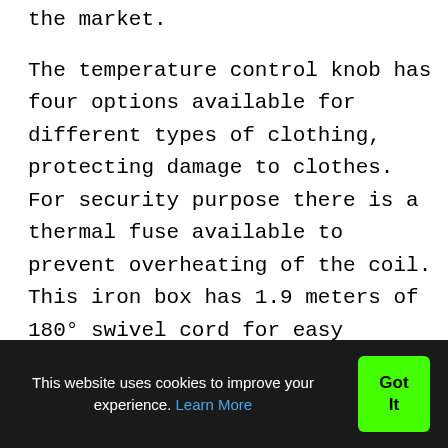the market.
The temperature control knob has four options available for different types of clothing, protecting damage to clothes. For security purpose there is a thermal fuse available to prevent overheating of the coil. This iron box has 1.9 meters of 180° swivel cord for easy handling and manipulations. We get a one-year warranty on the iron used against any parts, repairing or replacement
This website uses cookies to improve your experience. Learn More
Got It